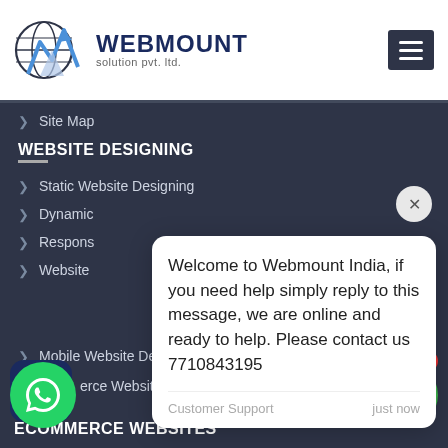[Figure (logo): Webmount Solution Pvt. Ltd. logo with globe and mountain/arrow icon]
WEBMOUNT solution pvt. ltd.
> Site Map
WEBSITE DESIGNING
> Static Website Designing
> Dynamic...
> Respons...
> Website...
Welcome to Webmount India, if you need help simply reply to this message, we are online and ready to help. Please contact us 7710843195
Customer Support    just now
> Mobile Website Designing
> ...erce Website Designing
ECOMMERCE WEBSITES